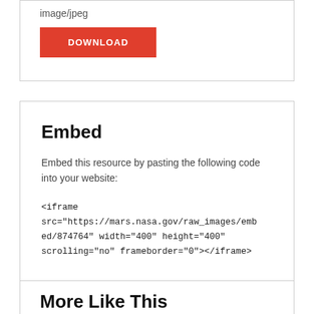image/jpeg
DOWNLOAD
Embed
Embed this resource by pasting the following code into your website:
<iframe src="https://mars.nasa.gov/raw_images/embed/874764" width="400" height="400" scrolling="no" frameborder="0"></iframe>
More Like This